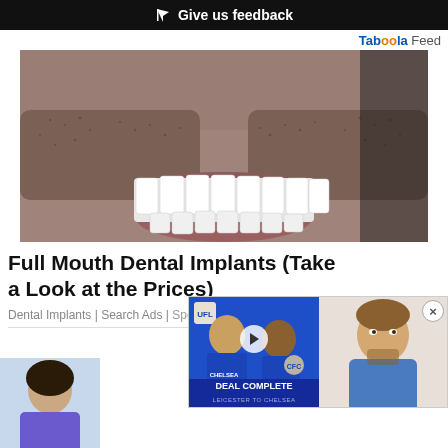Give us feedback
Tab00la Feed
[Figure (photo): Close-up photo of a man's smile showing full set of white dental implants/veneers with beard stubble visible]
Full Mouth Dental Implants (Take a Look at the Prices)
Dental Implants | Search Ads | Sponsored
[Figure (photo): Thumbnail of bottom article showing a woman]
[Figure (photo): Video overlay showing two football players in blue Chelsea jerseys with 'DEAL COMPLETE' text overlay and a man speaking on the right side]